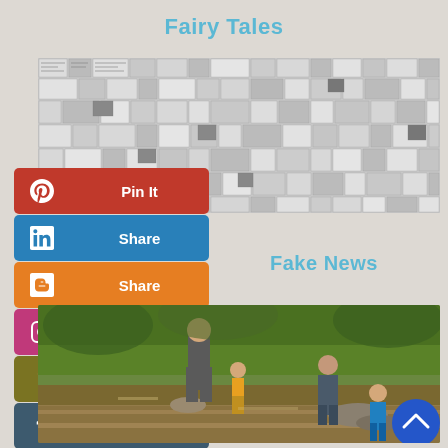Fairy Tales
[Figure (photo): Collage of newspaper/article clippings in black and white]
Pin It
Share (LinkedIn)
Share (Blogger)
Share (Instagram)
Goodreads
Tumblr
More
Fake News
[Figure (photo): Family playing in a stream in a forest — man, young child, woman bending over, child in blue shirt]